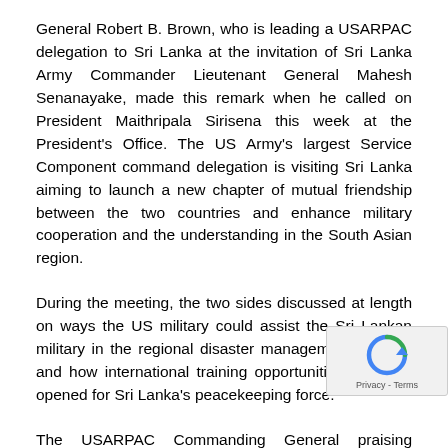General Robert B. Brown, who is leading a USARPAC delegation to Sri Lanka at the invitation of Sri Lanka Army Commander Lieutenant General Mahesh Senanayake, made this remark when he called on President Maithripala Sirisena this week at the President's Office. The US Army's largest Service Component command delegation is visiting Sri Lanka aiming to launch a new chapter of mutual friendship between the two countries and enhance military cooperation and the understanding in the South Asian region.
During the meeting, the two sides discussed at length on ways the US military could assist the Sri Lankan military in the regional disaster management process and how international training opportunities could be opened for Sri Lanka's peacekeeping force.
The USARPAC Commanding General praising Lanka Army's remarkable contribution to the de-mining